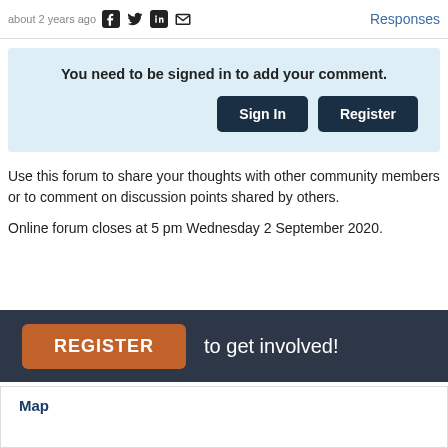about 2 years ago   Responses
You need to be signed in to add your comment.
Sign In   Register
Use this forum to share your thoughts with other community members or to comment on discussion points shared by others.

Online forum closes at 5 pm Wednesday 2 September 2020.
REGISTER   to get involved!
Map